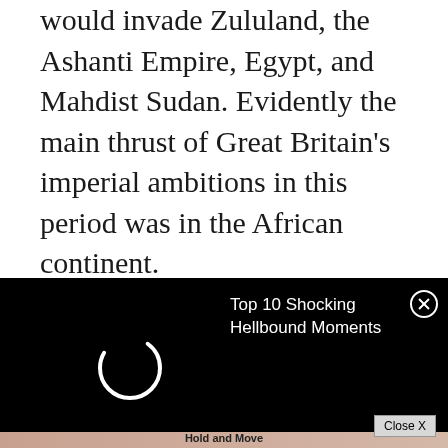would invade Zululand, the Ashanti Empire, Egypt, and Mahdist Sudan. Evidently the main thrust of Great Britain's imperial ambitions in this period was in the African continent.
Queen Elizabeth II sticking with Great Britain the aforementioned Queen Elizabeth,
[Figure (screenshot): Black ad overlay with spinner/loading circle on left, text 'Top 10 Shocking Hellbound Moments' on right in white, with an X close button in a circle top-right]
subsequent years of her reign Great Britain has i... d